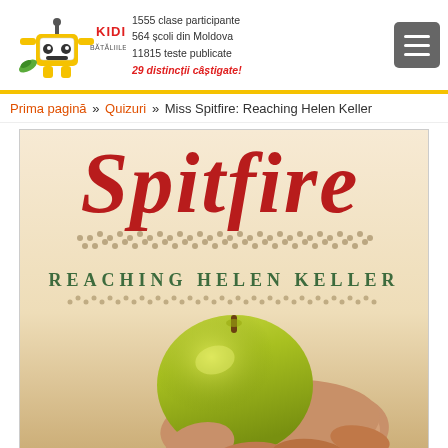1555 clase participante
564 școli din Moldova
11815 teste publicate
29 distincții câștigate!
Prima pagină » Quizuri » Miss Spitfire: Reaching Helen Keller
[Figure (photo): Book cover of 'Miss Spitfire: Reaching Helen Keller' showing the word 'Spitfire' in large red italic letters at the top, braille dots, the subtitle 'REACHING HELEN KELLER' in green spaced capitals, and a hand holding a green apple on a warm beige background.]